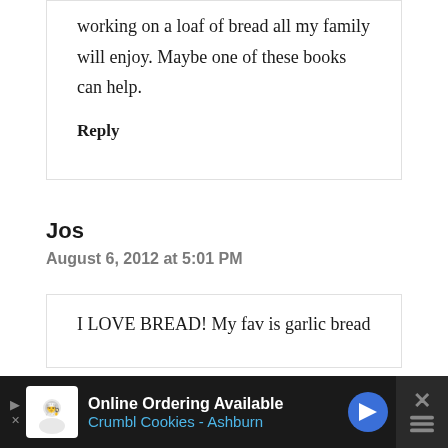working on a loaf of bread all my family will enjoy. Maybe one of these books can help.
Reply
Jos
August 6, 2012 at 5:01 PM
I LOVE BREAD! My fav is garlic bread
Online Ordering Available
Crumbl Cookies - Ashburn